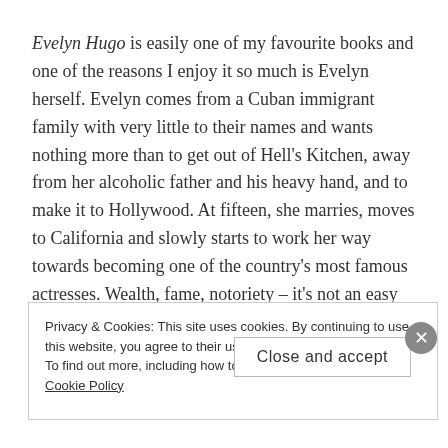Evelyn Hugo is easily one of my favourite books and one of the reasons I enjoy it so much is Evelyn herself. Evelyn comes from a Cuban immigrant family with very little to their names and wants nothing more than to get out of Hell's Kitchen, away from her alcoholic father and his heavy hand, and to make it to Hollywood. At fifteen, she marries, moves to California and slowly starts to work her way towards becoming one of the country's most famous actresses. Wealth, fame, notoriety – it's not an easy road and she has to sacrifice a lot of herself to get
Privacy & Cookies: This site uses cookies. By continuing to use this website, you agree to their use.
To find out more, including how to control cookies, see here: Cookie Policy
Close and accept